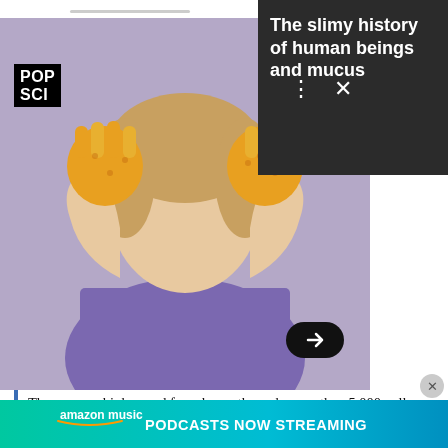[Figure (photo): Child holding hands up with orange/yellow paint on gloves against purple background, shown in an overlay notification card from Popular Science mobile app with title 'The slimy history of human beings and mucus']
The average high-speed ferry burns through more than 5,000 gallons of fuel per day. The one built by Wind+Wing Technologies typically harnesses 10,000 pounds of wind power instead. Three microphones send data to a computer that determines the wind's direction. A carbon-fiber sail then pivots around a 75-foot spine to capture it. All electronics—the wind sensor, wing controls, GPS, and communication tools—are powered by a 50-watt photovoltaic cell.
A Camera Powered By Wi-Fi
[Figure (screenshot): Amazon Music advertisement banner: 'amazon music PODCASTS NOW STREAMING' on a teal/green gradient background]